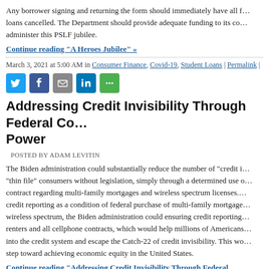Any borrower signing and returning the form should immediately have all f... loans cancelled. The Department should provide adequate funding to its co... administer this PSLF jubilee.
Continue reading "A Heroes Jubilee" »
March 3, 2021 at 5:00 AM in Consumer Finance, Covid-19, Student Loans | Permalink |
[Figure (other): Social sharing icons: Twitter, Facebook, Email, LinkedIn, More]
Addressing Credit Invisibility Through Federal Contracting Power
POSTED BY ADAM LEVITIN
The Biden administration could substantially reduce the number of "credit i... "thin file" consumers without legislation, simply through a determined use o... contract regarding multi-family mortgages and wireless spectrum licenses.... credit reporting as a condition of federal purchase of multi-family mortgage... wireless spectrum, the Biden administration could ensuring credit reporting... renters and all cellphone contracts, which would help millions of Americans... into the credit system and escape the Catch-22 of credit invisibility. This wo... step toward achieving economic equity in the United States.
Continue reading "Addressing Credit Invisibility Through Federal Contracting Pow..."
February 26, 2021 at 10:40 PM in Credit Reporting | Permalink | Comments (5)